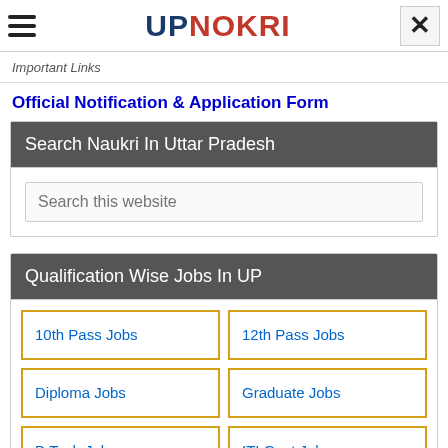UPNOKRI
Important Links
Official Notification & Application Form
Search Naukri In Uttar Pradesh
Search this website
Qualification Wise Jobs In UP
| 10th Pass Jobs | 12th Pass Jobs |
| Diploma Jobs | Graduate Jobs |
| B.Tech Jobs | ITI Govt Jobs |